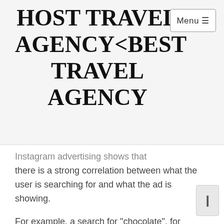HOST TRAVEL AGENCY<BEST TRAVEL AGENCY
Instagram advertising shows that there is a strong correlation between what the user is searching for and what the ad is showing.
For example, a search for "chocolate", for example, would show up as an ad that was more likely to show up on Instagram if the user was looking for chocolate.
In the US, the most commonly used search terms for the terms "choco" and "chunk" on Instagram are used